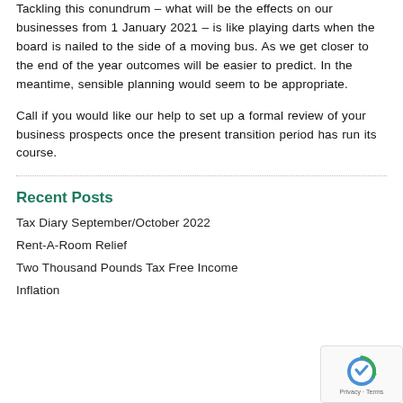Tackling this conundrum – what will be the effects on our businesses from 1 January 2021 – is like playing darts when the board is nailed to the side of a moving bus. As we get closer to the end of the year outcomes will be easier to predict. In the meantime, sensible planning would seem to be appropriate.
Call if you would like our help to set up a formal review of your business prospects once the present transition period has run its course.
Recent Posts
Tax Diary September/October 2022
Rent-A-Room Relief
Two Thousand Pounds Tax Free Income
Inflation